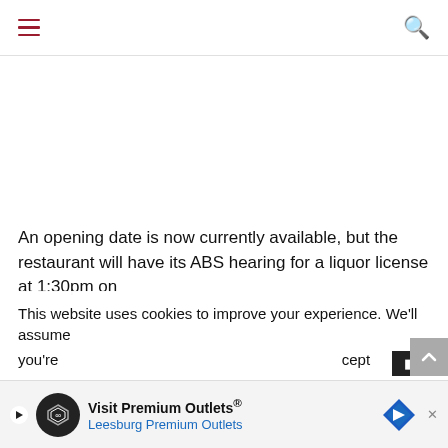Navigation menu and search icons
An opening date is now currently available, but the restaurant will have its ABS hearing for a liquor license at 1:30pm on
This website uses cookies to improve your experience. We'll assume you're ...cept
[Figure (screenshot): Advertisement banner for Visit Premium Outlets® Leesburg Premium Outlets with logo, play button, and directional arrow sign]